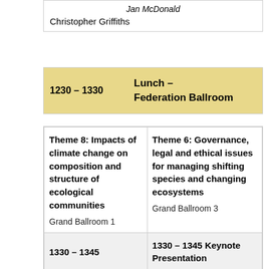| Jan McDonald |  |
| Christopher Griffiths |  |
| 1230 – 1330 | Lunch – Federation Ballroom |
| --- | --- |
| Theme 8: Impacts of climate change on composition and structure of ecological communities
Grand Ballroom 1 | Theme 6: Governance, legal and ethical issues for managing shifting species and changing ecosystems
Grand Ballroom 3 |
| --- | --- |
| 1330 – 1345 | 1330 – 1345 Keynote Presentation |